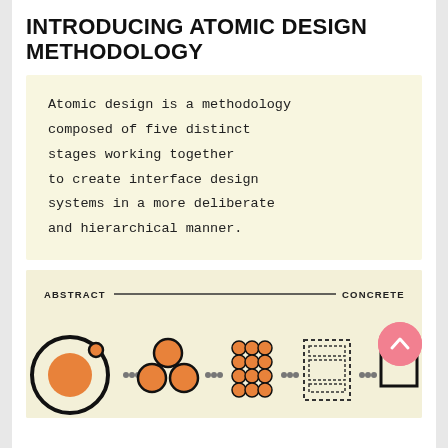INTRODUCING ATOMIC DESIGN METHODOLOGY
Atomic design is a methodology composed of five distinct stages working together to create interface design systems in a more deliberate and hierarchical manner.
[Figure (infographic): Infographic showing the atomic design spectrum from Abstract to Concrete, with five stages represented by icons: atom (circle with ring), molecule (connected circles), organism (grid of circles), template (dashed rectangle layout), and page (document icon). A horizontal line connects the ABSTRACT label on the left to the CONCRETE label on the right.]